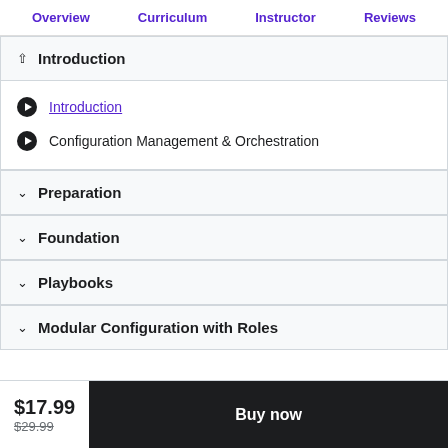Overview | Curriculum | Instructor | Reviews
Introduction
Introduction
Configuration Management & Orchestration
Preparation
Foundation
Playbooks
Modular Configuration with Roles
$17.99
$29.99
Buy now